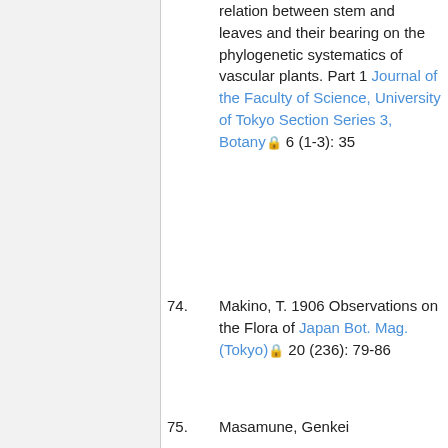(continuation) relation between stem and leaves and their bearing on the phylogenetic systematics of vascular plants. Part 1 Journal of the Faculty of Science, University of Tokyo Section Series 3, Botany 6 (1-3): 35
74. Makino, T. 1906 Observations on the Flora of Japan Bot. Mag. (Tokyo) 20 (236): 79-86
75. Masamune, Genkei 1937...